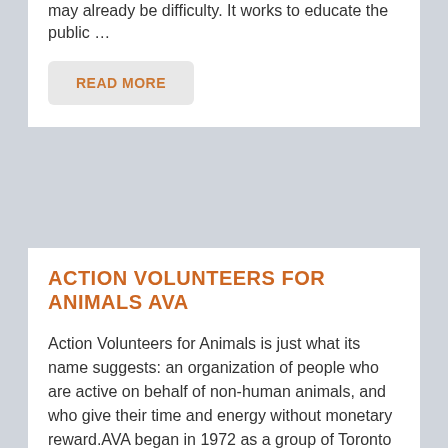may already be difficulty. It works to educate the public …
READ MORE
ACTION VOLUNTEERS FOR ANIMALS AVA
Action Volunteers for Animals is just what its name suggests: an organization of people who are active on behalf of non-human animals, and who give their time and energy without monetary reward.AVA began in 1972 as a group of Toronto Humane Society workers who kept this shelter animals alive during …
READ MORE